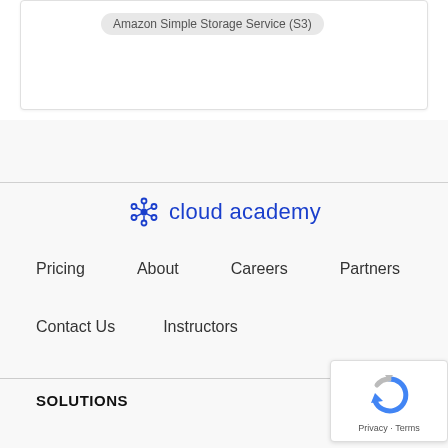Amazon Simple Storage Service (S3)
[Figure (logo): Cloud Academy logo with blue snowflake/atom icon and blue text 'cloud academy']
Pricing
About
Careers
Partners
Contact Us
Instructors
SOLUTIONS
[Figure (logo): Google reCAPTCHA badge with blue and grey arrow icon and 'Privacy · Terms' text]